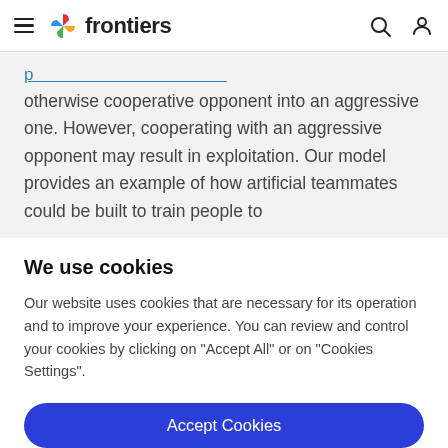frontiers
otherwise cooperative opponent into an aggressive one. However, cooperating with an aggressive opponent may result in exploitation. Our model provides an example of how artificial teammates could be built to train people to
We use cookies
Our website uses cookies that are necessary for its operation and to improve your experience. You can review and control your cookies by clicking on "Accept All" or on "Cookies Settings".
Accept Cookies
Cookies Settings